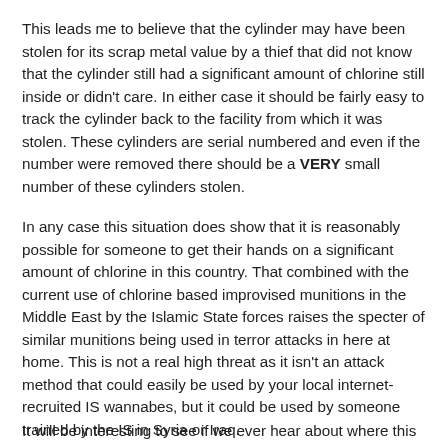This leads me to believe that the cylinder may have been stolen for its scrap metal value by a thief that did not know that the cylinder still had a significant amount of chlorine still inside or didn't care. In either case it should be fairly easy to track the cylinder back to the facility from which it was stolen. These cylinders are serial numbered and even if the number were removed there should be a VERY small number of these cylinders stolen.
In any case this situation does show that it is reasonably possible for someone to get their hands on a significant amount of chlorine in this country. That combined with the current use of chlorine based improvised munitions in the Middle East by the Islamic State forces raises the specter of similar munitions being used in terror attacks in here at home. This is not a real high threat as it isn't an attack method that could easily be used by your local internet-recruited IS wannabes, but it could be used by someone trained by the IS in Syria or Iraq.
It will be interesting to see if we ever hear about where this